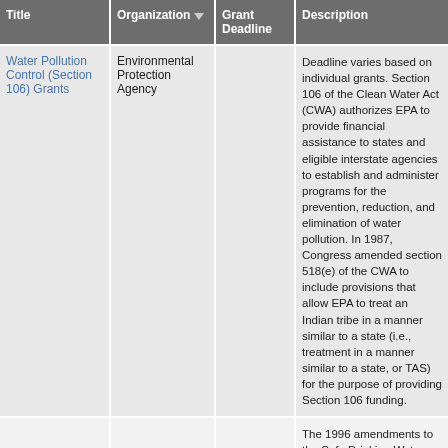| Title | Organization | Grant Deadline | Description |
| --- | --- | --- | --- |
| Water Pollution Control (Section 106) Grants | Environmental Protection Agency |  | Deadline varies based on individual grants. Section 106 of the Clean Water Act (CWA) authorizes EPA to provide financial assistance to states and eligible interstate agencies to establish and administer programs for the prevention, reduction, and elimination of water pollution. In 1987, Congress amended section 518(e) of the CWA to include provisions that allow EPA to treat an Indian tribe in a manner similar to a state (i.e., treatment in a manner similar to a state, or TAS) for the purpose of providing Section 106 funding. |
|  |  |  | The 1996 amendments to the Safe Drinking Water Act (SWDA) established the Drinking Water State Revolving Fund (DWS... |